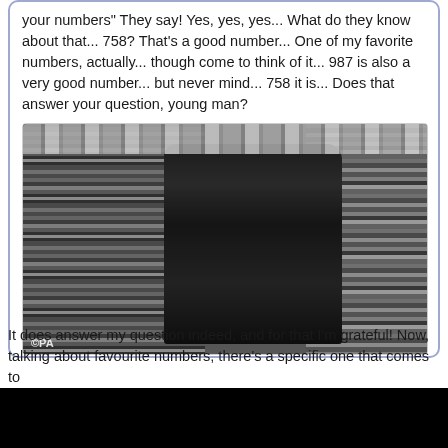your numbers" They say! Yes, yes, yes... What do they know about that... 758? That's a good number... One of my favorite numbers, actually... though come to think of it... 987 is also a very good number... but never mind... 758 it is... Does that answer your question, young man?
[Figure (photo): Black and white photograph of an elderly bearded man in dark clothing, standing among tall stacks of files, books, and papers in what appears to be an archive or library. He is holding papers or a book. Watermark '© PA' visible in bottom left corner.]
It does answer my question indeed, and for that I'm grateful! Now, talking about favourite numbers, there's a specific one that comes to